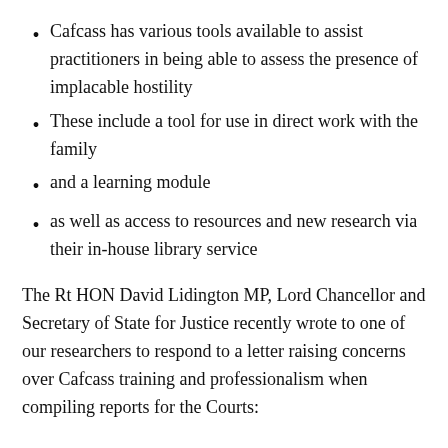Cafcass has various tools available to assist practitioners in being able to assess the presence of implacable hostility
These include a tool for use in direct work with the family
and a learning module
as well as access to resources and new research via their in-house library service
The Rt HON David Lidington MP, Lord Chancellor and Secretary of State for Justice recently wrote to one of our researchers to respond to a letter raising concerns over Cafcass training and professionalism when compiling reports for the Courts: